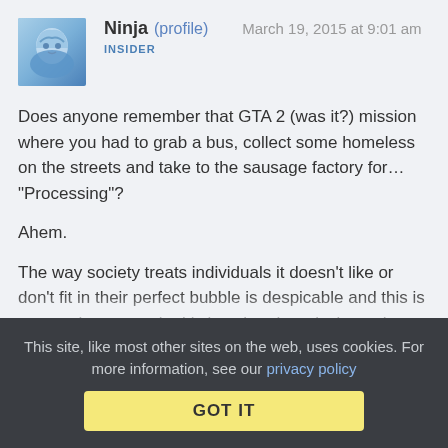[Figure (illustration): User avatar image with blue/teal anime-style illustration]
Ninja (profile)   March 19, 2015 at 9:01 am
INSIDER
Does anyone remember that GTA 2 (was it?) mission where you had to grab a bus, collect some homeless on the streets and take to the sausage factory for… "Processing"?

Ahem.

The way society treats individuals it doesn't like or don't fit in their perfect bubble is despicable and this is yet another example. It's just that there isn't another Australia to send them too as all continents are occupied.
This site, like most other sites on the web, uses cookies. For more information, see our privacy policy
GOT IT